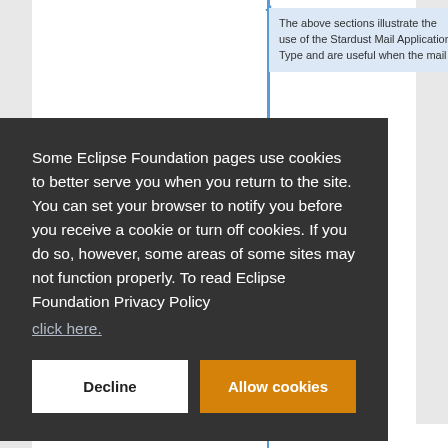The above sections illustrate the use of the Stardust Mail Application Type and are useful when the mail
Some Eclipse Foundation pages use cookies to better serve you when you return to the site. You can set your browser to notify you before you receive a cookie or turn off cookies. If you do so, however, some areas of some sites may not function properly. To read Eclipse Foundation Privacy Policy click here.
(starting version 6.0)